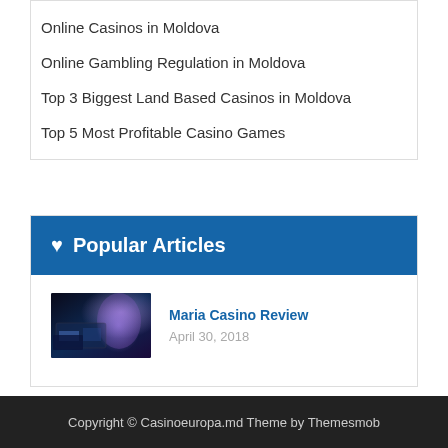Online Casinos in Moldova
Online Gambling Regulation in Moldova
Top 3 Biggest Land Based Casinos in Moldova
Top 5 Most Profitable Casino Games
♥ Popular Articles
[Figure (photo): Thumbnail image for Maria Casino Review showing a woman against a dark casino-themed background]
Maria Casino Review
April 30, 2018
Copyright © Casinoeuropa.md Theme by Themesmob